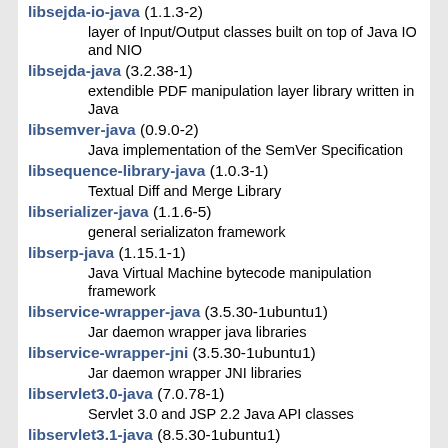libsejda-io-java (1.1.3-2) — layer of Input/Output classes built on top of Java IO and NIO
libsejda-java (3.2.38-1) — extendible PDF manipulation layer library written in Java
libsemver-java (0.9.0-2) — Java implementation of the SemVer Specification
libsequence-library-java (1.0.3-1) — Textual Diff and Merge Library
libserializer-java (1.1.6-5) — general serializaton framework
libserp-java (1.15.1-1) — Java Virtual Machine bytecode manipulation framework
libservice-wrapper-java (3.5.30-1ubuntu1) — Jar daemon wrapper java libraries
libservice-wrapper-jni (3.5.30-1ubuntu1) — Jar daemon wrapper JNI libraries
libservlet3.0-java (7.0.78-1) — Servlet 3.0 and JSP 2.2 Java API classes
libservlet3.1-java (8.5.30-1ubuntu1) — Servlet 3.1, JSP 2.3, EL 3.0 and WebSocket 1.0 Java API classes
libsezpoz-java (1.10-2) — Lightweight library for modular service lookups
libshimdandy-java (1.2.0-2)